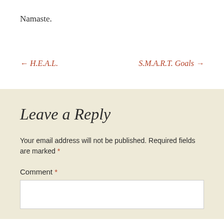Namaste.
← H.E.A.L.
S.M.A.R.T. Goals →
Leave a Reply
Your email address will not be published. Required fields are marked *
Comment *